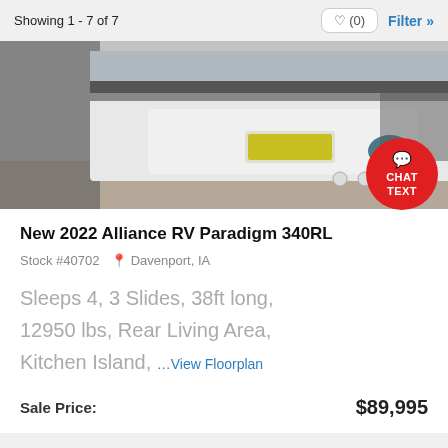Showing 1 - 7 of 7
[Figure (photo): Rear exterior view of a white Alliance RV Paradigm 340RL fifth-wheel trailer with hitch and slide-outs visible, parked outdoors on gravel.]
New 2022 Alliance RV Paradigm 340RL
Stock #40702  Davenport, IA
Sleeps 4, 3 Slides, 38ft long, 12950 lbs, Rear Living Area, Kitchen Island, …View Floorplan
Sale Price:  $89,995